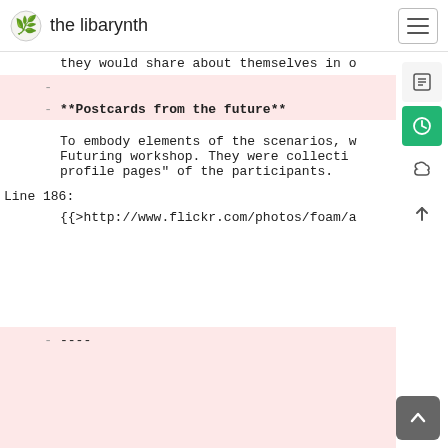the libarynth
they would share about themselves in o
- (empty removed line)
- **Postcards from the future**
To embody elements of the scenarios, w Futuring workshop. They were collecti profile pages" of the participants.
Line 186:
{{>http://www.flickr.com/photos/foam/a
- ----